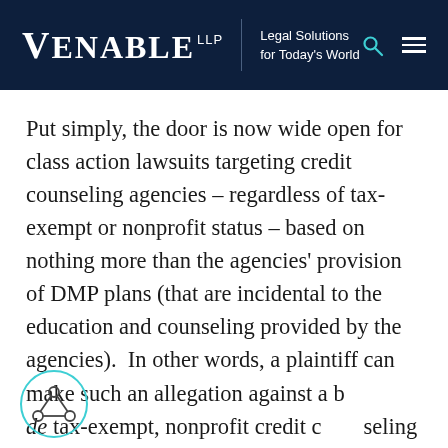VENABLE LLP — Legal Solutions for Today's World
Put simply, the door is now wide open for class action lawsuits targeting credit counseling agencies – regardless of tax-exempt or nonprofit status – based on nothing more than the agencies' provision of DMP plans (that are incidental to the education and counseling provided by the agencies).  In other words, a plaintiff can make such an allegation against a bona fide tax-exempt, nonprofit credit counseling agency and then the agency must